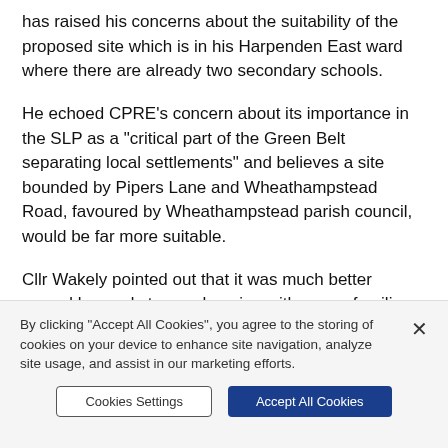has raised his concerns about the suitability of the proposed site which is in his Harpenden East ward where there are already two secondary schools.
He echoed CPRE's concern about its importance in the SLP as a "critical part of the Green Belt separating local settlements" and believes a site bounded by Pipers Lane and Wheathampstead Road, favoured by Wheathampstead parish council, would be far more suitable.
Cllr Wakely pointed out that it was much better served by roads to new housing with young families, was flat for playing fields and access would be far easier.
He said this week that the county's proposed site was a
By clicking "Accept All Cookies", you agree to the storing of cookies on your device to enhance site navigation, analyze site usage, and assist in our marketing efforts.